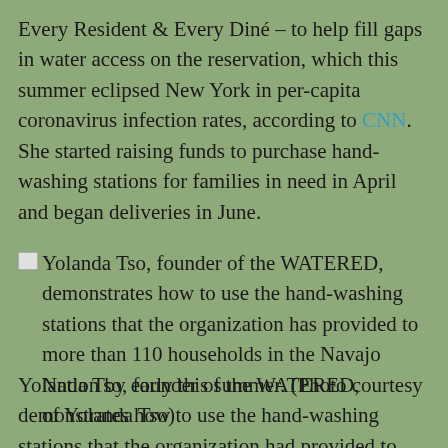Every Resident & Every Diné – to help fill gaps in water access on the reservation, which this summer eclipsed New York in per-capita coronavirus infection rates, according to CNN. She started raising funds to purchase hand-washing stations for families in need in April and began deliveries in June.
[Figure (photo): Broken image placeholder followed by caption: Yolanda Tso, founder of the WATERED, demonstrates how to use the hand-washing stations that the organization has provided to more than 110 households in the Navajo Nation by early this summer. (Photo courtesy of Yolanda Tso)]
Yolanda Tso, founder of the WATERED, demonstrates how to use the hand-washing stations that the organization had provided to more than 110 households on the Navajo reservation by early this summer. (Photo courtesy of Yolanda Tso)